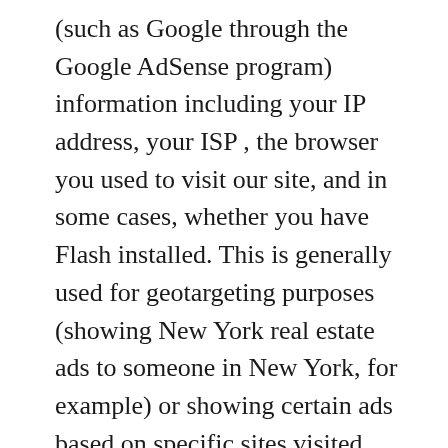(such as Google through the Google AdSense program) information including your IP address, your ISP , the browser you used to visit our site, and in some cases, whether you have Flash installed. This is generally used for geotargeting purposes (showing New York real estate ads to someone in New York, for example) or showing certain ads based on specific sites visited (such as showing cooking ads to someone who frequents cooking sites).
DoubleClick DART cookies We also may use DART cookies for ad serving through Google's